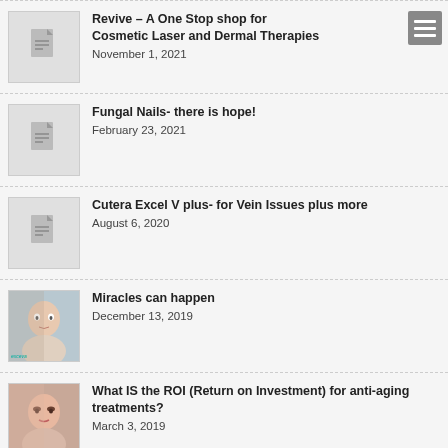Revive – A One Stop shop for Cosmetic Laser and Dermal Therapies
November 1, 2021
Fungal Nails- there is hope!
February 23, 2021
Cutera Excel V plus- for Vein Issues plus more
August 6, 2020
Miracles can happen
December 13, 2019
What IS the ROI (Return on Investment) for anti-aging treatments?
March 3, 2019